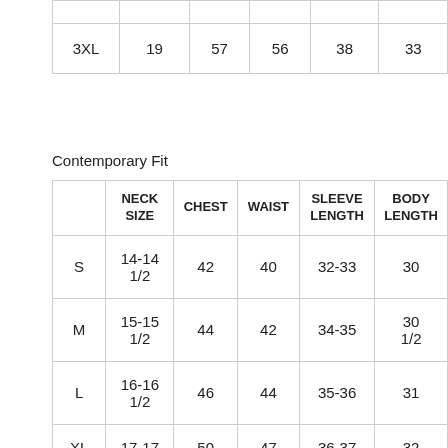|  | NECK SIZE | CHEST | WAIST | SLEEVE LENGTH | BODY LENGTH |
| --- | --- | --- | --- | --- | --- |
| 3XL | 19 | 57 | 56 | 38 | 33 |
Contemporary Fit
|  | NECK SIZE | CHEST | WAIST | SLEEVE LENGTH | BODY LENGTH |
| --- | --- | --- | --- | --- | --- |
| S | 14-14 1/2 | 42 | 40 | 32-33 | 30 |
| M | 15-15 1/2 | 44 | 42 | 34-35 | 30 1/2 |
| L | 16-16 1/2 | 46 | 44 | 35-36 | 31 |
| XL | 17-17 | 50 | 47 | 36-37 | 32 |